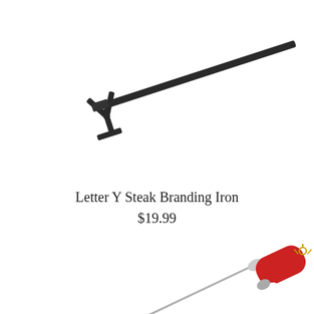[Figure (photo): A Letter Y steak branding iron with a long black metal handle and Y-shaped brand tip, photographed diagonally against white background]
Letter Y Steak Branding Iron
$19.99
[Figure (photo): Close-up of a branding iron handle in red with white and silver accents, thin metal rod extending diagonally, with a small decorative element at the top end, photographed against white background]